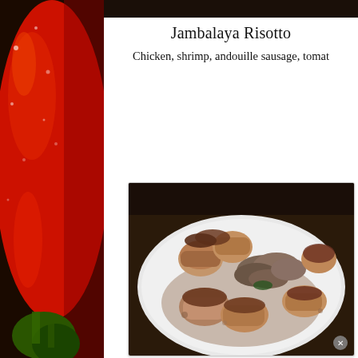[Figure (photo): Red bell pepper close-up photo on the left side of the page]
[Figure (photo): Dark top image bar at top right]
Jambalaya Risotto
Chicken, shrimp, andouille sausage, tomat
[Figure (photo): Food photo showing seared scallops with sauteed mushrooms on a white plate]